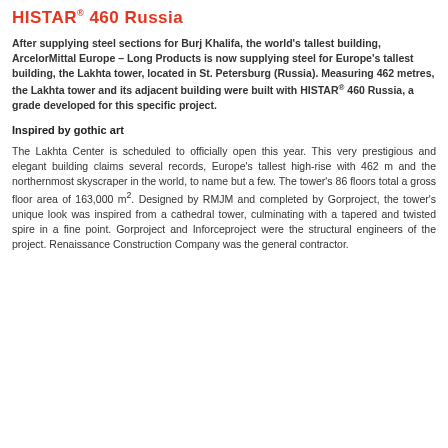HISTAR® 460 Russia
After supplying steel sections for Burj Khalifa, the world's tallest building, ArcelorMittal Europe – Long Products is now supplying steel for Europe's tallest building, the Lakhta tower, located in St. Petersburg (Russia). Measuring 462 metres, the Lakhta tower and its adjacent building were built with HISTAR® 460 Russia, a grade developed for this specific project.
Inspired by gothic art
The Lakhta Center is scheduled to officially open this year. This very prestigious and elegant building claims several records, Europe's tallest high-rise with 462 m and the northernmost skyscraper in the world, to name but a few. The tower's 86 floors total a gross floor area of 163,000 m2. Designed by RMJM and completed by Gorproject, the tower's unique look was inspired from a cathedral tower, culminating with a tapered and twisted spire in a fine point. Gorproject and Inforceproject were the structural engineers of the project. Renaissance Construction Company was the general contractor.